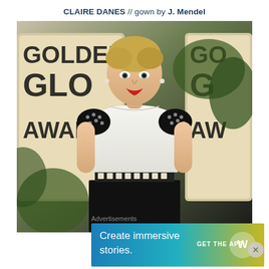CLAIRE DANES // gown by J. Mendel
[Figure (photo): Claire Danes posing at the Golden Globe Awards red carpet, wearing a black and white J. Mendel gown with embellished shoulders and a studded belt, with Golden Globe Awards signage visible in the background.]
Advertisements
[Figure (infographic): WordPress advertisement banner: 'Create immersive stories. GET THE APP' with WordPress logo]